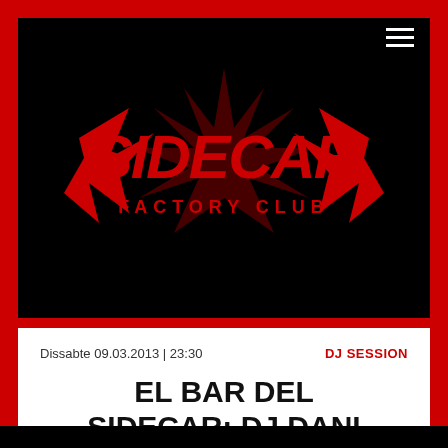[Figure (logo): Sidecar Factory Club logo in red metallic spiky font on black background]
Dissabte 09.03.2013 | 23:30
DJ SESSION
EL BAR DEL SIDECAR: DJ DANI BLUE
Psicodelia